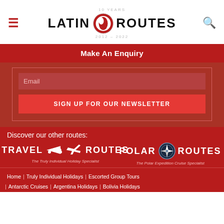Latin Routes — 10 Years 2012-2022
Make An Enquiry
Email
SIGN UP FOR OUR NEWSLETTER
Discover our other routes:
[Figure (logo): Travel Routes logo with airplane icon — The Truly Individual Holiday Specialist]
[Figure (logo): Polar Routes logo with compass icon — The Polar Expedition Cruise Specialist]
Home | Truly Individual Holidays | Escorted Group Tours | Antarctic Cruises | Argentina Holidays | Bolivia Holidays